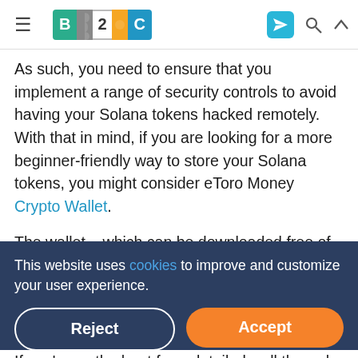B2C [logo] — navigation header with hamburger menu, Telegram icon, search icon, up icon
As such, you need to ensure that you implement a range of security controls to avoid having your Solana tokens hacked remotely. With that in mind, if you are looking for a more beginner-friendly way to store your Solana tokens, you might consider eToro Money Crypto Wallet.
The wallet – which can be downloaded free of charge as an iOS or Android app, has been built with inexperienced crypto investors in mind. Crucially, if you forget your wallet password or misplace your private keys, eToro can help
This website uses cookies to improve and customize your user experience.
If you're on the hunt for a detailed walkthrough of how to